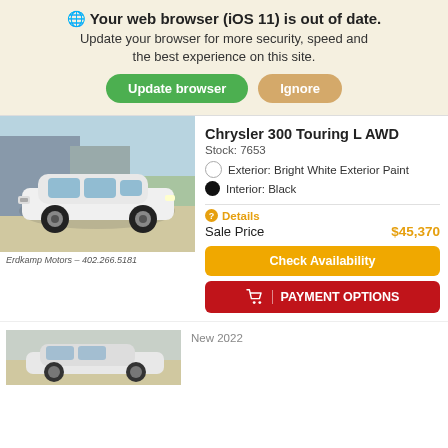🌐 Your web browser (iOS 11) is out of date. Update your browser for more security, speed and the best experience on this site. Update browser | Ignore
Chrysler 300 Touring L AWD
Stock: 7653
Exterior: Bright White Exterior Paint
Interior: Black
❶Details
Sale Price  $45,370
Check Availability
PAYMENT OPTIONS
Erdkamp Motors – 402.266.5181
New 2022